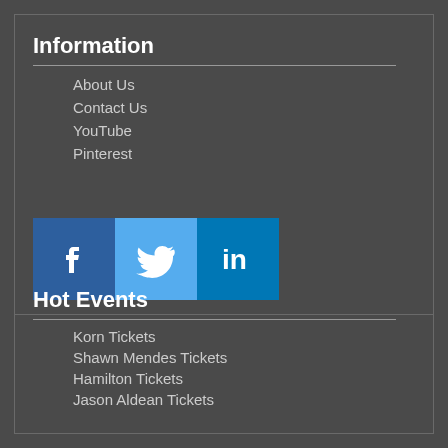Information
About Us
Contact Us
YouTube
Pinterest
[Figure (logo): Social media icons: Facebook (blue square with f), Twitter (light blue square with bird), LinkedIn (dark blue square with 'in')]
Hot Events
Korn Tickets
Shawn Mendes Tickets
Hamilton Tickets
Jason Aldean Tickets